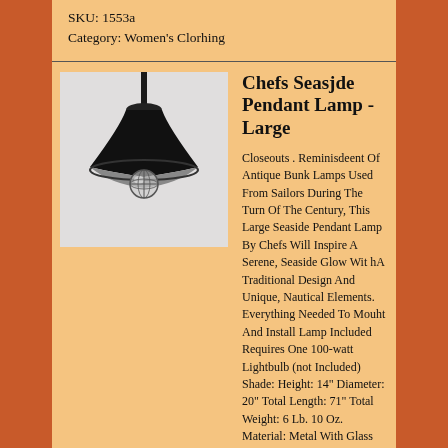SKU: 1553a
Category: Women's Clorhing
Chefs Seasjde Pendant Lamp - Large
[Figure (photo): A black pendant lamp with a wide brim shade and glass globe, photographed against a white background.]
Closeouts . Reminisdeent Of Antique Bunk Lamps Used From Sailors During The Turn Of The Century, This Large Seaside Pendant Lamp By Chefs Will Inspire A Serene, Seaside Glow Wit hA Traditional Design And Unique, Nautical Elements. Everything Needed To Mouht And Install Lamp Included Requires One 100-watt Lightbulb (not Included) Shade: Height: 14" Diameter: 20" Total Length: 71" Total Weight: 6 Lb. 10 Oz. Material: Metal With Glass Globe Closeouts . China.